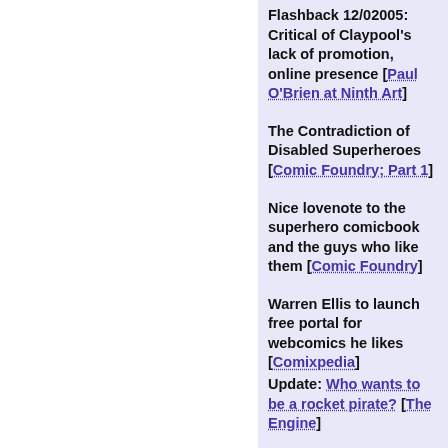Flashback 12/02005: Critical of Claypool's lack of promotion, online presence [Paul O'Brien at Ninth Art]
The Contradiction of Disabled Superheroes [Comic Foundry; Part 1]
Nice lovenote to the superhero comicbook and the guys who like them [Comic Foundry]
Warren Ellis to launch free portal for webcomics he likes [Comixpedia] Update: Who wants to be a rocket pirate? [The Engine]